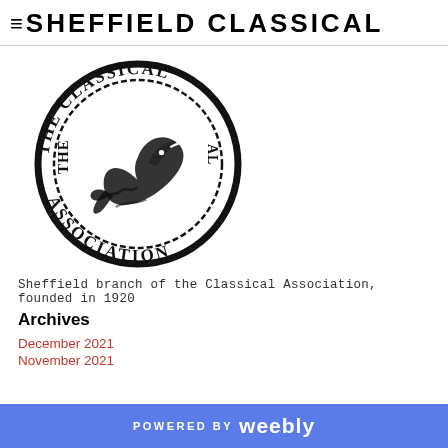SHEFFIELD CLASSICAL
[Figure (logo): The Classical Association circular logo with a dolphin in the center, text reading THE CLASSICAL ASSOCIATION around the border in stamp style, black ink on white]
Sheffield branch of the Classical Association, founded in 1920
Archives
December 2021
November 2021
POWERED BY weebly